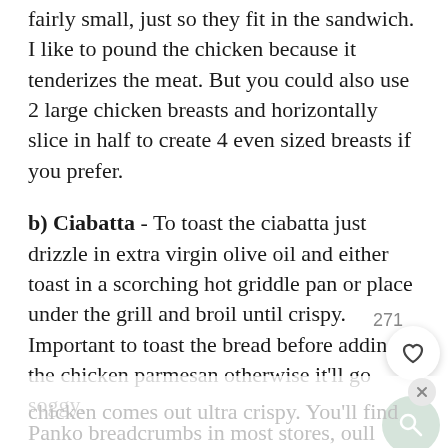fairly small, just so they fit in the sandwich. I like to pound the chicken because it tenderizes the meat. But you could also use 2 large chicken breasts and horizontally slice in half to create 4 even sized breasts if you prefer.
b) Ciabatta - To toast the ciabatta just drizzle in extra virgin olive oil and either toast in a scorching hot griddle pan or place under the grill and broil until crispy. Important to toast the bread before adding the chicken parmesan otherwise it'll go soggy.
c) Panko - Panko breadcrumbs are great because they're big and airy, meaning the chicken comes out ultra crispy. You'll find Panko breadcrumbs in most stores, oull